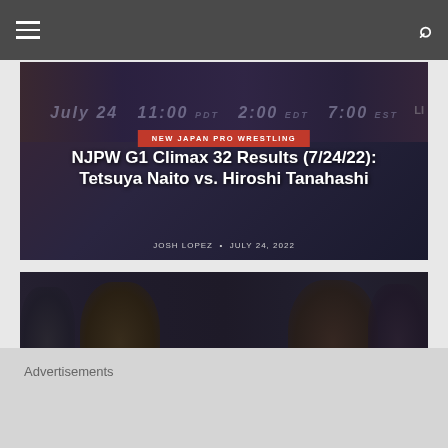Navigation bar with menu and search icons
[Figure (screenshot): NJPW G1 Climax 32 Results article card with wrestlers in background, red NEW JAPAN PRO WRESTLING badge, title text and author/date info]
NJPW G1 Climax 32 Results (7/24/22): Tetsuya Naito vs. Hiroshi Tanahashi
JOSH LOPEZ • JULY 24, 2022
[Figure (photo): G1 Climax 32 promotional image showing multiple wrestlers with G1 Climax logo, matchup text showing e Jr. vs Aaron Henare and YOSHI-HASHI vs Shin]
Advertisements